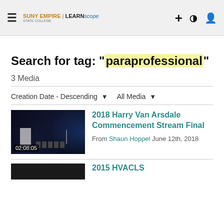SUNY EMPIRE | LEARNscape
Search for tag: "paraprofessional"
3 Media
Creation Date - Descending  All Media
[Figure (photo): Dark thumbnail of a stage/auditorium with podium, chairs, and American flag, duration 02:08:05]
2018 Harry Van Arsdale Commencement Stream Final
From Shaun Hoppel June 12th, 2018
2015 HVACLS